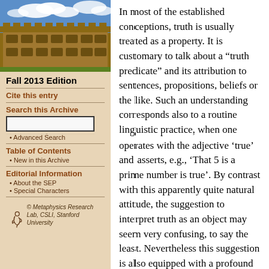[Figure (photo): Photograph of a historic university building (stone architecture) with blue sky and clouds]
Fall 2013 Edition
Cite this entry
Search this Archive
Advanced Search
Table of Contents
New in this Archive
Editorial Information
About the SEP
Special Characters
[Figure (logo): Metaphysics Research Lab, CSIL, Stanford University logo with stylized figure]
In most of the established conceptions, truth is usually treated as a property. It is customary to talk about a “truth predicate” and its attribution to sentences, propositions, beliefs or the like. Such an understanding corresponds also to a routine linguistic practice, when one operates with the adjective ‘true’ and asserts, e.g., ‘That 5 is a prime number is true’. By contrast with this apparently quite natural attitude, the suggestion to interpret truth as an object may seem very confusing, to say the least. Nevertheless this suggestion is also equipped with a profound and strong motivation